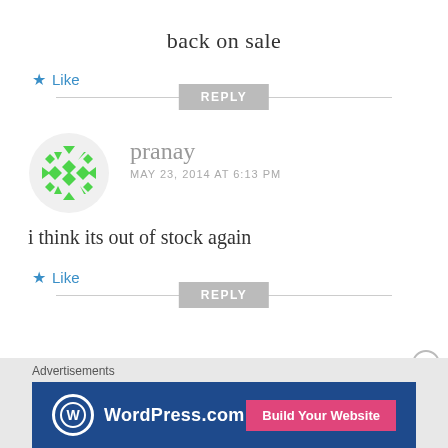back on sale
★ Like
REPLY
[Figure (illustration): Green geometric/snowflake avatar icon for user pranay]
pranay
MAY 23, 2014 AT 6:13 PM
i think its out of stock again
★ Like
REPLY
Advertisements
[Figure (screenshot): WordPress.com advertisement banner with Build Your Website button]